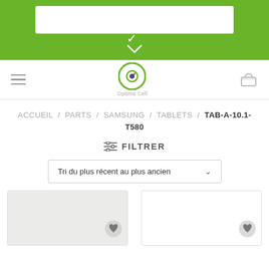[Figure (screenshot): Green banner with white search box and white chevron/arrow pointing down]
[Figure (logo): Optima Cell logo - green circle with dark eye/camera icon, text 'Optima Cell' below]
ACCUEIL / PARTS / SAMSUNG / TABLETS / TAB-A-10.1-T580
≡ FILTRER
Tri du plus récent au plus ancien ∨
[Figure (screenshot): Two product card placeholders with heart/wishlist icons, light grey background fill areas]